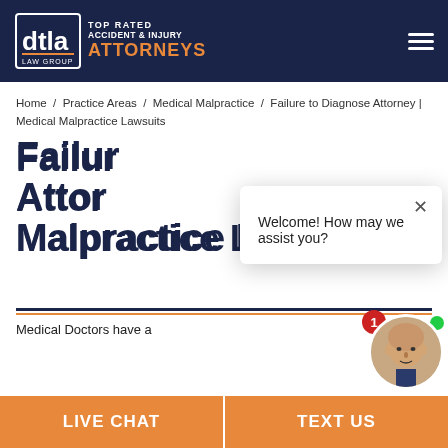[Figure (logo): DTLA Law Group logo with white and orange text on dark navy background, with hamburger menu icon]
Home / Practice Areas / Medical Malpractice / Failure to Diagnose Attorney | Medical Malpractice Lawsuits
Failure to Diagnose Attorney | Medical Malpractice Lawsuits
Medical Doctors have a
[Figure (screenshot): Chat popup overlay reading 'Welcome! How may we assist you?' with an X close button, and a chat avatar with badge showing 1 unread message]
LIVE CHAT
TEXT US